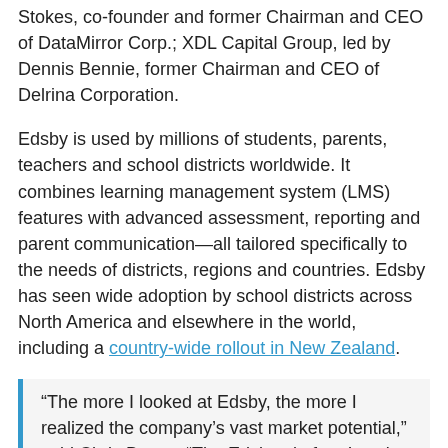Stokes, co-founder and former Chairman and CEO of DataMirror Corp.; XDL Capital Group, led by Dennis Bennie, former Chairman and CEO of Delrina Corporation.
Edsby is used by millions of students, parents, teachers and school districts worldwide. It combines learning management system (LMS) features with advanced assessment, reporting and parent communication—all tailored specifically to the needs of districts, regions and countries. Edsby has seen wide adoption by school districts across North America and elsewhere in the world, including a country-wide rollout in New Zealand.
“The more I looked at Edsby, the more I realized the company’s vast market potential,” said Chris Besse. “The Edsby platform’s unique and comprehensive breadth of features provides K-12 education with the best cloud-based,